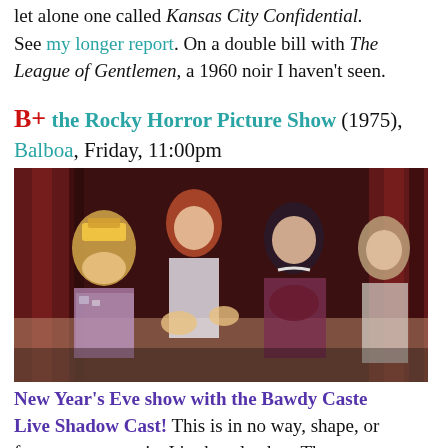let alone one called Kansas City Confidential. See my longer report. On a double bill with The League of Gentlemen, a 1960 noir I haven't seen.
B+ the Rocky Horror Picture Show (1975), Balboa, Friday, 11:00pm
[Figure (photo): Scene from The Rocky Horror Picture Show showing cast members in costume on stage]
New Year's Eve show with the Bawdy Caste Live Shadow Cast! This is in no way, shape, or form a great movie. It's cheaply shot. The songs